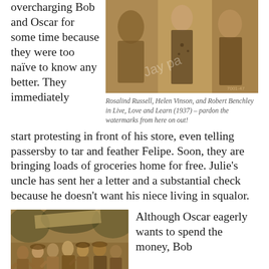overcharging Bob and Oscar for some time because they were too naïve to know any better. They immediately
[Figure (photo): Sepia-toned still photograph of Rosalind Russell, Helen Vinson, and Robert Benchley in Live, Love and Learn (1937). Three people posed together, watermark visible.]
Rosalind Russell, Helen Vinson, and Robert Benchley in Live, Love and Learn (1937) – pardon the watermarks from here on out!
start protesting in front of his store, even telling passersby to tar and feather Felipe. Soon, they are bringing loads of groceries home for free. Julie's uncle has sent her a letter and a substantial check because he doesn't want his niece living in squalor.
[Figure (photo): Sepia-toned still photograph of a crowd scene from a movie, people in period costumes appearing to be in a struggle or dance outdoors.]
Although Oscar eagerly wants to spend the money, Bob